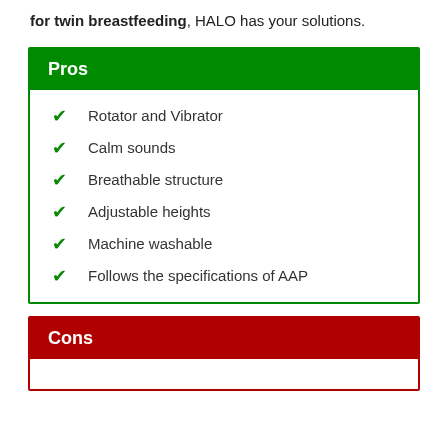for twin breastfeeding, HALO has your solutions.
Pros
Rotator and Vibrator
Calm sounds
Breathable structure
Adjustable heights
Machine washable
Follows the specifications of AAP
Cons